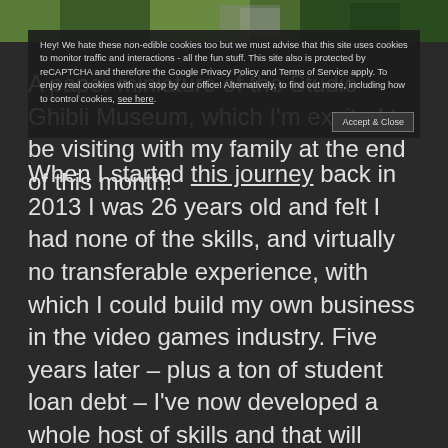[Figure (photo): Top strip showing greenery/nature image from Studio Ghibli Museum context]
A paper miniature of the Studio Ghibli Museum, which I'm excited to be visiting with my family at the end of this month!
When I started this journey back in 2013 I was 26 years old and felt I had none of the skills, and virtually no transferable experience, with which I could build my own business in the video games industry. Five years later – plus a ton of student loan debt – I've now developed a whole host of skills and that will serve me well for the rest of my professional life. Most of all, my life is as enriched by these skills as it's enhanced by the opportunities they bring. I'll be 31 years old this time next week and I now feel set to tackle challenges of the next thirty years of my life.
Hey! We hate these non-edible cookies too but we must advise that this site uses cookies to monitor traffic and interactions - all the fun stuff. This site also is protected by reCAPTCHA and therefore the Google Privacy Policy and Terms of Service apply. To enjoy real cookies with us stop by our office! Alternatively, to find out more, including how to control cookies, see here.